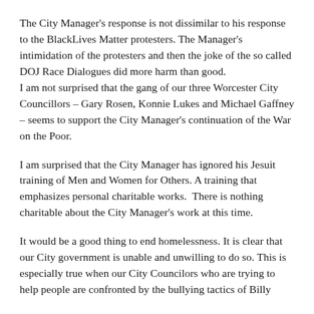The City Manager's response is not dissimilar to his response to the BlackLives Matter protesters. The Manager's intimidation of the protesters and then the joke of the so called DOJ Race Dialogues did more harm than good. I am not surprised that the gang of our three Worcester City Councillors – Gary Rosen, Konnie Lukes and Michael Gaffney – seems to support the City Manager's continuation of the War on the Poor.
I am surprised that the City Manager has ignored his Jesuit training of Men and Women for Others. A training that emphasizes personal charitable works.  There is nothing charitable about the City Manager's work at this time.
It would be a good thing to end homelessness. It is clear that our City government is unable and unwilling to do so. This is especially true when our City Councilors who are trying to help people are confronted by the bullying tactics of Billy